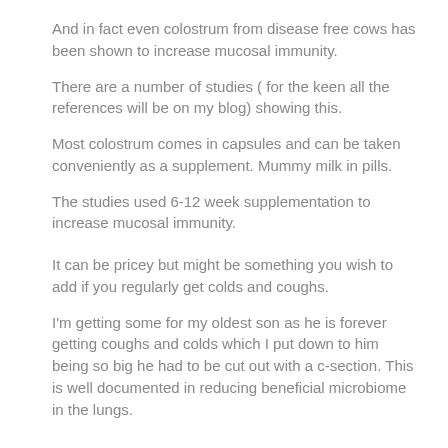And in fact even colostrum from disease free cows has been shown to increase mucosal immunity.
There are a number of studies ( for the keen all the references will be on my blog) showing this.
Most colostrum comes in capsules and can be taken conveniently as a supplement. Mummy milk in pills.
The studies used 6-12 week supplementation to increase mucosal immunity.
It can be pricey but might be something you wish to add if you regularly get colds and coughs.
I'm getting some for my oldest son as he is forever getting coughs and colds which I put down to him being so big he had to be cut out with a c-section. This is well documented in reducing beneficial microbiome in the lungs.